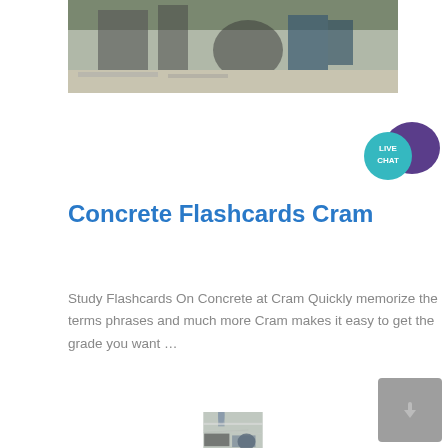[Figure (photo): Industrial construction site with machinery, pipes, and equipment visible, taken from ground level]
Concrete Flashcards Cram
Study Flashcards On Concrete at Cram Quickly memorize the terms phrases and much more Cram makes it easy to get the grade you want …
[Figure (photo): Aerial view of industrial equipment including ducts, pipes, grates, and circular machinery components]
[Figure (other): Live Chat widget with speech bubble icon in teal and purple]